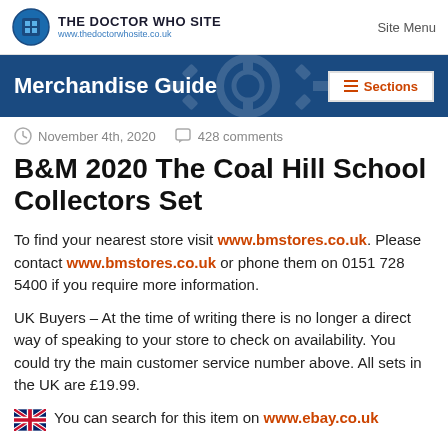THE DOCTOR WHO SITE www.thedoctorwhosite.co.uk | Site Menu
Merchandise Guide
November 4th, 2020  428 comments
B&M 2020 The Coal Hill School Collectors Set
To find your nearest store visit www.bmstores.co.uk. Please contact www.bmstores.co.uk or phone them on 0151 728 5400 if you require more information.
UK Buyers – At the time of writing there is no longer a direct way of speaking to your store to check on availability. You could try the main customer service number above. All sets in the UK are £19.99.
You can search for this item on www.ebay.co.uk